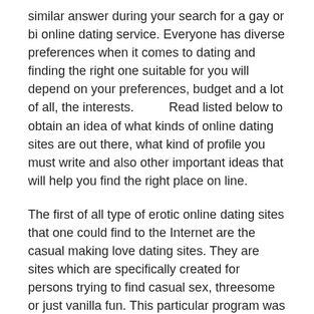similar answer during your search for a gay or bi online dating service. Everyone has diverse preferences when it comes to dating and finding the right one suitable for you will depend on your preferences, budget and a lot of all, the interests.          Read listed below to obtain an idea of what kinds of online dating sites are out there, what kind of profile you must write and also other important ideas that will help you find the right place on line.
The first of all type of erotic online dating sites that one could find to the Internet are the casual making love dating sites. They are sites which are specifically created for persons trying to find casual sex, threesome or just vanilla fun. This particular program was designed by homosexual lgbtQ females here in america, so why not just seek everyday sex, discuss and obtain wild. This